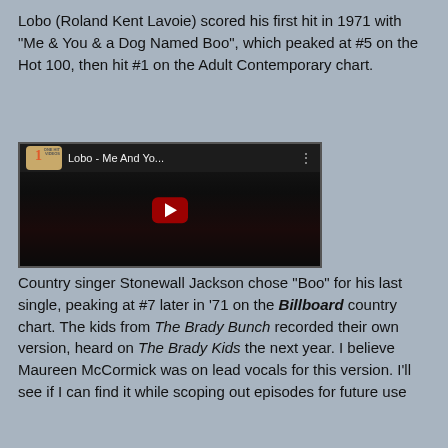Lobo (Roland Kent Lavoie) scored his first hit in 1971 with "Me & You & a Dog Named Boo", which peaked at #5 on the Hot 100, then hit #1 on the Adult Contemporary chart.
[Figure (screenshot): YouTube video thumbnail for 'Lobo - Me And Yo...' showing a dark video frame with a red play button in the center and a channel logo in the top left.]
Country singer Stonewall Jackson chose "Boo" for his last single, peaking at #7 later in '71 on the Billboard country chart. The kids from The Brady Bunch recorded their own version, heard on The Brady Kids the next year. I believe Maureen McCormick was on lead vocals for this version. I'll see if I can find it while scoping out episodes for future use